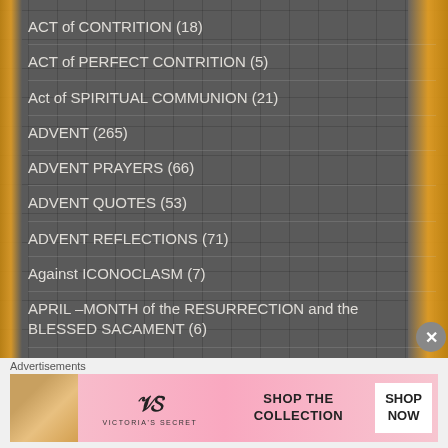ACT of CONTRITION (18)
ACT of PERFECT CONTRITION (5)
Act of SPIRITUAL COMMUNION (21)
ADVENT (265)
ADVENT PRAYERS (66)
ADVENT QUOTES (53)
ADVENT REFLECTIONS (71)
Against ICONOCLASM (7)
APRIL – MONTH of the RESURRECTION and the BLESSED SACAMENT (6)
ArchAngels and Angels (88)
Advertisements